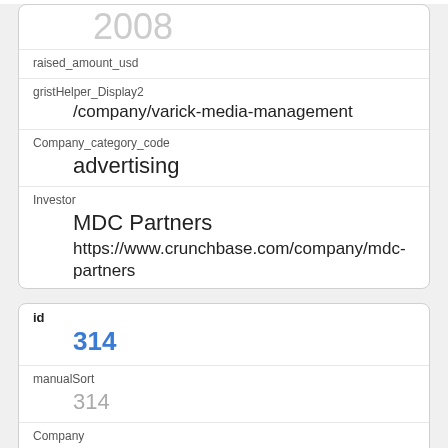2008
raised_amount_usd
gristHelper_Display2
/company/varick-media-management
Company_category_code
advertising
Investor
MDC Partners
https://www.crunchbase.com/company/mdc-partners
id
314
manualSort
314
Company
1691
investor_permalink
/company/tamra-tacoma-capital-partners